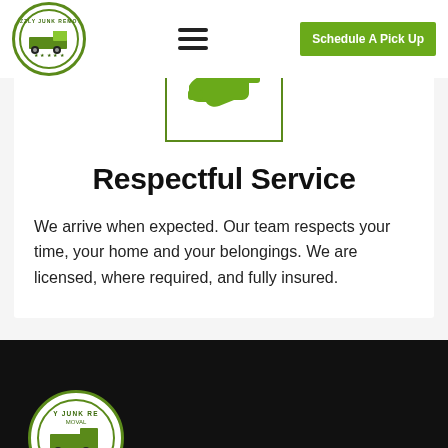[Figure (logo): Grizzly Junk Removal circular logo with green border and truck icon]
[Figure (other): Hamburger menu icon (three horizontal lines)]
Schedule A Pick Up
[Figure (illustration): Handshake icon in green inside a square border]
Respectful Service
We arrive when expected. Our team respects your time, your home and your belongings. We are licensed, where required, and fully insured.
[Figure (logo): Grizzly Junk Removal logo partially visible at bottom of page]